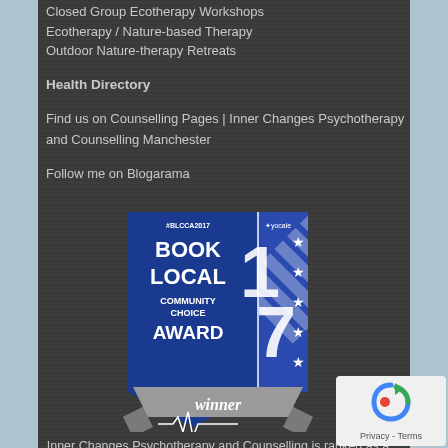Closed Group Ecotherapy Workshops
Ecotherapy / Nature-based Therapy
Outdoor Nature-therapy Retreats
Health Directory
Find us on Counselling Pages | Inner Changes Psychotherapy and Counselling Manchester
Follow me on Blogarama
[Figure (logo): Book Local Community Choice Award 2017 Winner badge from Vocale (#BLCCA2017)]
Inner Changes Psychotherapy and Counselling is ranked as a top Mental Health & Counselling in Manchester